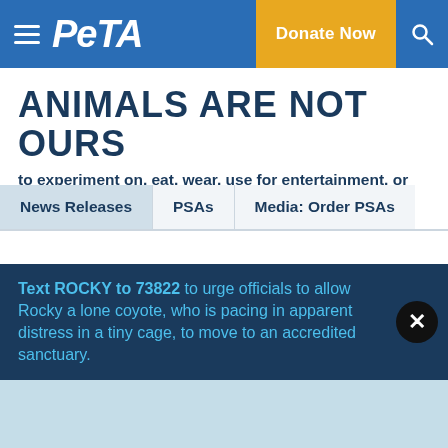PETA — Donate Now
ANIMALS ARE NOT OURS to experiment on, eat, wear, use for entertainment, or abuse in any other way.
News Releases
PSAs
Media: Order PSAs
PETA to Bring Factory Farm to University of California—Irvine
Text ROCKY to 73822 to urge officials to allow Rocky a lone coyote, who is pacing in apparent distress in a tiny cage, to move to an accredited sanctuary.